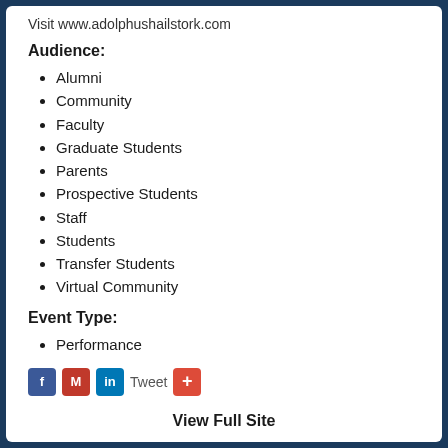Visit www.adolphushailstork.com
Audience:
Alumni
Community
Faculty
Graduate Students
Parents
Prospective Students
Staff
Students
Transfer Students
Virtual Community
Event Type:
Performance
[Figure (other): Social share buttons: Facebook, Gmail, LinkedIn, Tweet, Google Plus]
View Full Site